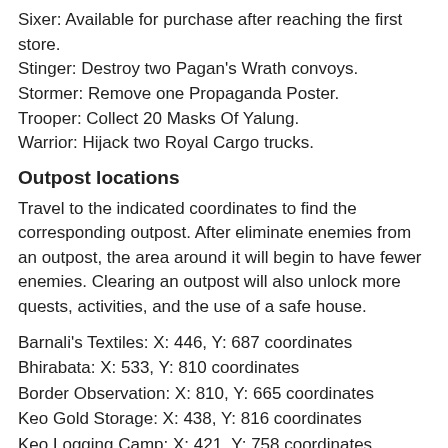Sixer: Available for purchase after reaching the first store.
Stinger: Destroy two Pagan's Wrath convoys.
Stormer: Remove one Propaganda Poster.
Trooper: Collect 20 Masks Of Yalung.
Warrior: Hijack two Royal Cargo trucks.
Outpost locations
Travel to the indicated coordinates to find the corresponding outpost. After eliminate enemies from an outpost, the area around it will begin to have fewer enemies. Clearing an outpost will also unlock more quests, activities, and the use of a safe house.
Barnali's Textiles: X: 446, Y: 687 coordinates
Bhirabata: X: 533, Y: 810 coordinates
Border Observation: X: 810, Y: 665 coordinates
Keo Gold Storage: X: 438, Y: 816 coordinates
Keo Logging Camp: X: 421, Y: 758 coordinates
Keo Pradhana Mine: X: 692, Y: 624 coordinates
Kheta Manor: X: 446, Y: 452 coordinates
Khilana Bazaar: X: 298, Y: 426 coordinates
Kyra Tea Terraces: X: 394, Y: 328 coordinates